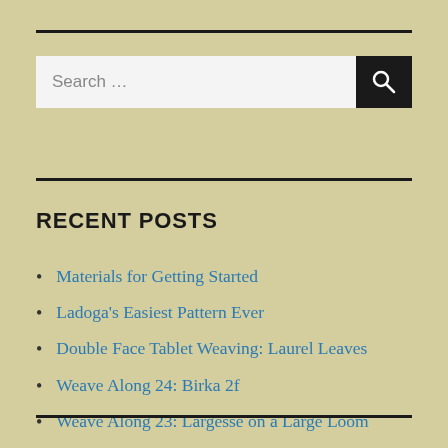[Figure (screenshot): Search input field with placeholder text 'Search ...' and a dark search button with magnifying glass icon]
RECENT POSTS
Materials for Getting Started
Ladoga's Easiest Pattern Ever
Double Face Tablet Weaving: Laurel Leaves
Weave Along 24: Birka 2f
Weave Along 23: Largesse on a Large Loom